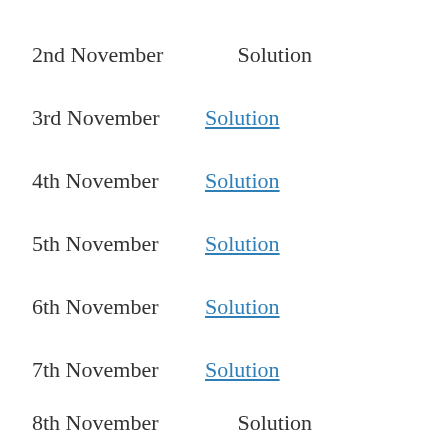2nd November    Solution
3rd November  Solution
4th November  Solution
5th November  Solution
6th November  Solution
7th November  Solution
8th November    Solution